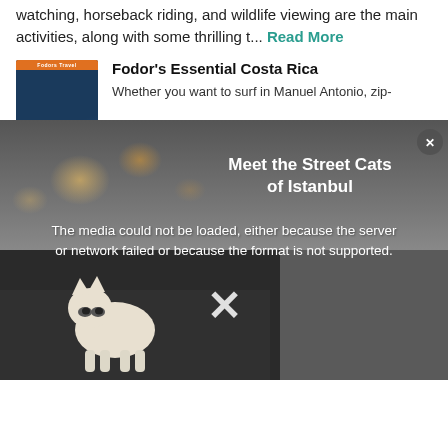watching, horseback riding, and wildlife viewing are the main activities, along with some thrilling t... Read More
Fodor's Essential Costa Rica
Whether you want to surf in Manuel Antonio, zip-
[Figure (screenshot): Video player overlay showing a media error message. Background shows a dark street scene with a small white cat. Overlay text reads 'Meet the Street Cats of Istanbul'. Error message: 'The media could not be loaded, either because the server or network failed or because the format is not supported.' A large white X dismiss button is shown at the bottom center, and a small circular close button (x) in the top right corner.]